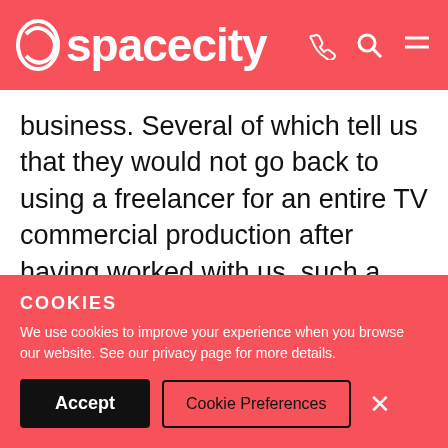spacecity
business. Several of which tell us that they would not go back to using a freelancer for an entire TV commercial production after having worked with us, such a successful TV advertising production company.
WHEN SHOULD I USE AN ADVERTISING AGENCY OR
COOKIES
We use cookies to improve your experience when you browse our website. See our privacy page for more details.
Accept   Cookie Preferences   ×